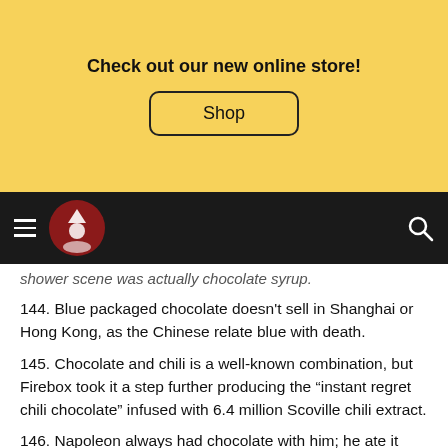Check out our new online store! Shop
[Figure (logo): Website navigation bar with hamburger menu, circular logo/icon, and search icon on dark background]
shower scene was actually chocolate syrup.
144. Blue packaged chocolate doesn't sell in Shanghai or Hong Kong, as the Chinese relate blue with death.
145. Chocolate and chili is a well-known combination, but Firebox took it a step further producing the "instant regret chili chocolate" infused with 6.4 million Scoville chili extract.
146. Napoleon always had chocolate with him; he ate it whenever he needed an energy boost.
147. When chocolate is covered in a white speckled layer, it has "bloomed". This is caused by the fat (cocoa butter)